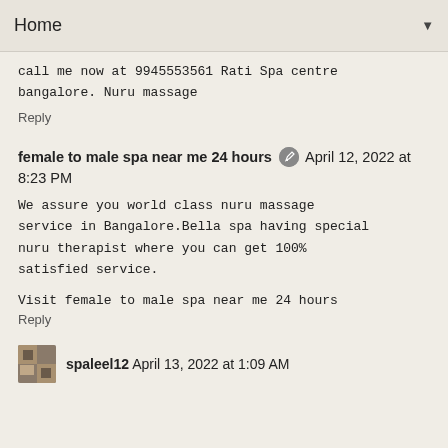Home ▼
call me now at 9945553561 Rati Spa centre bangalore. Nuru massage
Reply
female to male spa near me 24 hours [edit icon] April 12, 2022 at 8:23 PM
We assure you world class nuru massage service in Bangalore.Bella spa having special nuru therapist where you can get 100% satisfied service.
Visit female to male spa near me 24 hours
Reply
spaleel12 April 13, 2022 at 1:09 AM